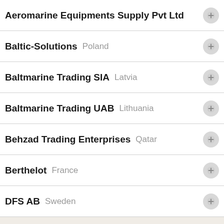Aeromarine Equipments Supply Pvt Ltd
Baltic-Solutions Poland
Baltmarine Trading SIA Latvia
Baltmarine Trading UAB Lithuania
Behzad Trading Enterprises Qatar
Berthelot France
DFS AB Sweden
[Figure (logo): DFS company logo with horizontal lines above text]
Address: Fiskebäcks Hamn 7, Västra Frölunda, 426 58, Sweden
Contact: Mr. Marcus Nilsson